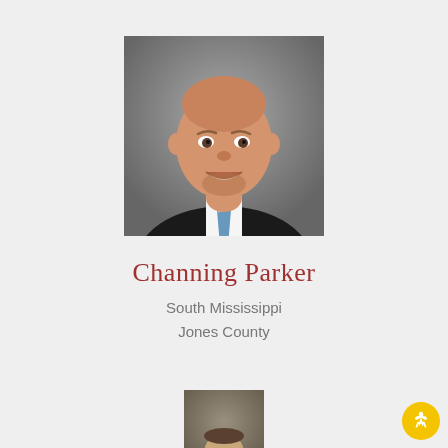[Figure (photo): Professional headshot of Channing Parker, a smiling man in a dark suit and striped tie against a gray background]
Channing Parker
South Mississippi
Jones County
[Figure (photo): Partial headshot of another person, cropped at bottom of page, against a gray-brown background]